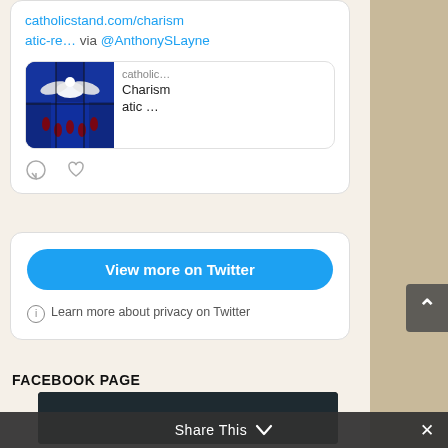[Figure (screenshot): Twitter/X embedded tweet card showing a link to catholicstand.com/charismatic-re… via @AnthonySLayne, with a stained glass image preview showing a dove and 'Charismatic …' text, plus comment and like icons]
[Figure (screenshot): Twitter embed 'View more on Twitter' blue button section with privacy note: Learn more about privacy on Twitter]
FACEBOOK PAGE
[Figure (screenshot): Facebook page image thumbnail (dark)]
[Figure (screenshot): Share This bar with chevron and close button at bottom of page]